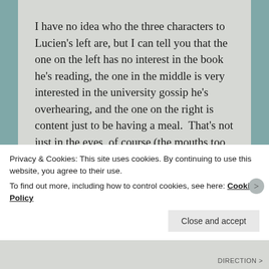I have no idea who the three characters to Lucien's left are, but I can tell you that the one on the left has no interest in the book he's reading, the one in the middle is very interested in the university gossip he's overhearing, and the one on the right is content just to be having a meal.  That's not just in the eyes, of course (the mouths too, convey much in their set), but the eyes are doing the bulk of the work.
It's this level of attention to the nuance of
Privacy & Cookies: This site uses cookies. By continuing to use this website, you agree to their use.
To find out more, including how to control cookies, see here: Cookie Policy
Close and accept